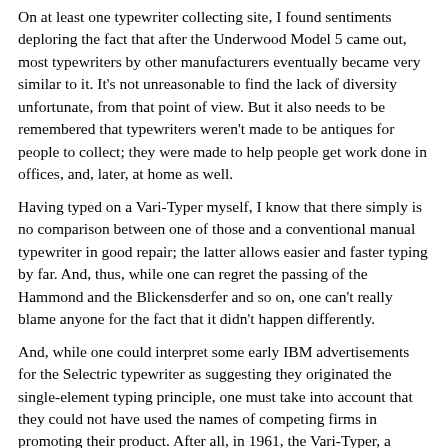On at least one typewriter collecting site, I found sentiments deploring the fact that after the Underwood Model 5 came out, most typewriters by other manufacturers eventually became very similar to it. It's not unreasonable to find the lack of diversity unfortunate, from that point of view. But it also needs to be remembered that typewriters weren't made to be antiques for people to collect; they were made to help people get work done in offices, and, later, at home as well.
Having typed on a Vari-Typer myself, I know that there simply is no comparison between one of those and a conventional manual typewriter in good repair; the latter allows easier and faster typing by far. And, thus, while one can regret the passing of the Hammond and the Blickensderfer and so on, one can't really blame anyone for the fact that it didn't happen differently.
And, while one could interpret some early IBM advertisements for the Selectric typewriter as suggesting they originated the single-element typing principle, one must take into account that they could not have used the names of competing firms in promoting their product. After all, in 1961, the Vari-Typer, a descendant of the Hammond, was still being made.
Numerous books as well as web sites on typewriter collecting have